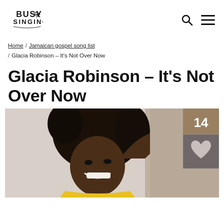BUSY SINGING
Home / Jamaican gospel song list / Glacia Robinson – It's Not Over Now
Glacia Robinson – It's Not Over Now
[Figure (photo): Photo of Glacia Robinson, a smiling woman with curly hair, wearing a yellow top, with a like counter showing 14 and a heart icon overlay in the bottom right of the image area.]